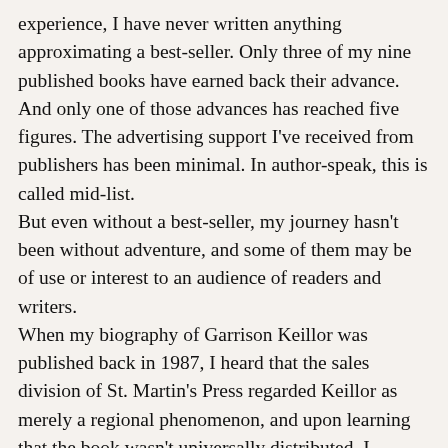experience, I have never written anything approximating a best-seller. Only three of my nine published books have earned back their advance. And only one of those advances has reached five figures. The advertising support I've received from publishers has been minimal. In author-speak, this is called mid-list.
But even without a best-seller, my journey hasn't been without adventure, and some of them may be of use or interest to an audience of readers and writers.
When my biography of Garrison Keillor was published back in 1987, I heard that the sales division of St. Martin's Press regarded Keillor as merely a regional phenomenon, and upon learning that the book wasn't universally distributed, I complained to my agent. She promised to talk to St. Martin's, but